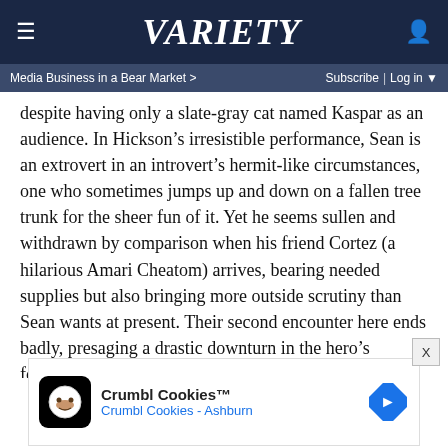≡  VARIETY  👤
Media Business in a Bear Market >   Subscribe | Log in ▼
despite having only a slate-gray cat named Kaspar as an audience. In Hickson's irresistible performance, Sean is an extrovert in an introvert's hermit-like circumstances, one who sometimes jumps up and down on a fallen tree trunk for the sheer fun of it. Yet he seems sullen and withdrawn by comparison when his friend Cortez (a hilarious Amari Cheatom) arrives, bearing needed supplies but also bringing more outside scrutiny than Sean wants at present. Their second encounter here ends badly, presaging a drastic downturn in the hero's fortunes in which terror, violence and Belial himself seize control. Of course, it could also be that Sean is simply mad from having gone off his meds... h
[Figure (other): Advertisement for Crumbl Cookies - Ashburn with cookie logo and navigation arrow icon]